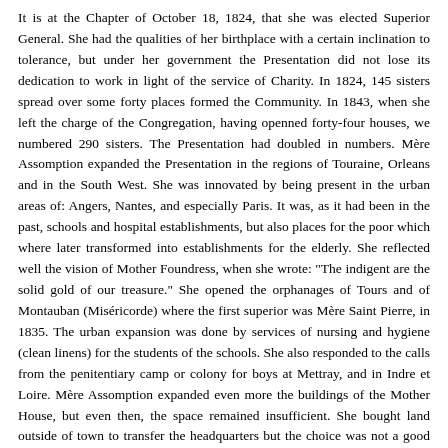It is at the Chapter of October 18, 1824, that she was elected Superior General. She had the qualities of her birthplace with a certain inclination to tolerance, but under her government the Presentation did not lose its dedication to work in light of the service of Charity. In 1824, 145 sisters spread over some forty places formed the Community. In 1843, when she left the charge of the Congregation, having openned forty-four houses, we numbered 290 sisters. The Presentation had doubled in numbers. Mère Assomption expanded the Presentation in the regions of Touraine, Orleans and in the South West. She was innovated by being present in the urban areas of: Angers, Nantes, and especially Paris. It was, as it had been in the past, schools and hospital establishments, but also places for the poor which where later transformed into establishments for the elderly. She reflected well the vision of Mother Foundress, when she wrote: "The indigent are the solid gold of our treasure." She opened the orphanages of Tours and of Montauban (Miséricorde) where the first superior was Mère Saint Pierre, in 1835. The urban expansion was done by services of nursing and hygiene (clean linens) for the students of the schools. She also responded to the calls from the penitentiary camp or colony for boys at Mettray, and in Indre et Loire. Mère Assomption expanded even more the buildings of the Mother House, but even then, the space remained insufficient. She bought land outside of town to transfer the headquarters but the choice was not a good one and it had painful consequences for the next Generalate.
Traces of the Dominican heritage, so desired by Marie Poussepin